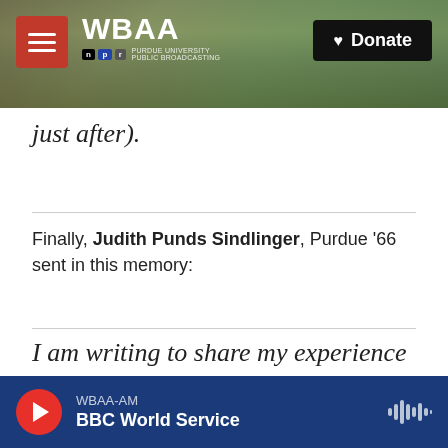[Figure (screenshot): WBAA NPR radio website header with tree branch photo background, red hamburger menu button, WBAA logo, and black Donate button]
just after).
Finally, Judith Punds Sindlinger, Purdue '66 sent in this memory:
I am writing to share my experience as a Purdue majorette at the Indianapolis 500 Race. I am not sure but I think it was 1965. I am afraid my memory of
WBAA-AM BBC World Service